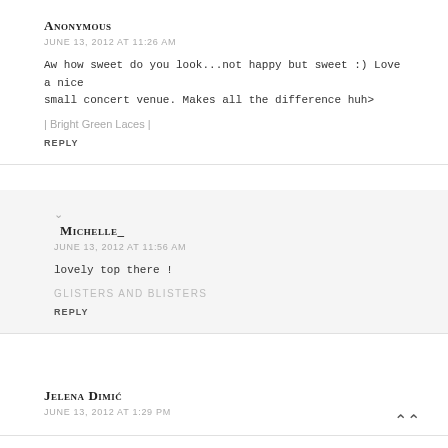Anonymous
JUNE 13, 2012 AT 11:26 AM
Aw how sweet do you look...not happy but sweet :) Love a nice small concert venue. Makes all the difference huh>
| Bright Green Laces |
REPLY
MICHELLE_
JUNE 13, 2012 AT 11:56 AM
lovely top there !
GLISTERS AND BLISTERS
REPLY
Jelena Dimić
JUNE 13, 2012 AT 1:29 PM